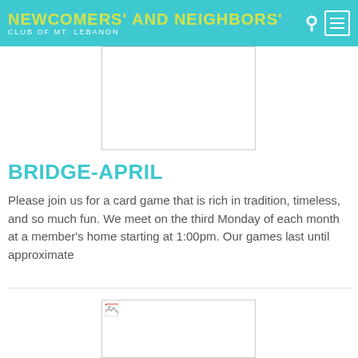NEWCOMERS' AND NEIGHBORS' CLUB OF MT. LEBANON
[Figure (photo): Image placeholder (blank white box) at top center of page]
BRIDGE-APRIL
Please join us for a card game that is rich in tradition, timeless, and so much fun. We meet on the third Monday of each month at a member's home starting at 1:00pm. Our games last until approximate
[Figure (photo): Image placeholder with broken image icon at bottom center of page]